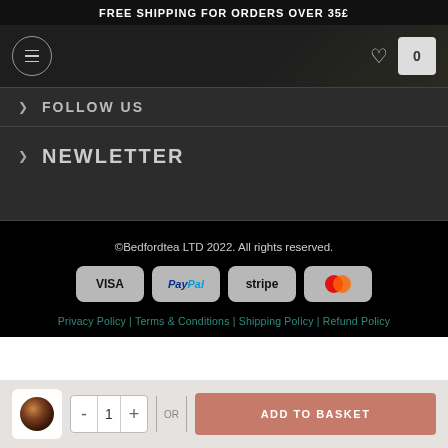FREE SHIPPING FOR ORDERS OVER 35£
[Figure (screenshot): Navigation bar with hamburger menu icon in circle, heart icon and basket with 0 items on dark background]
FOLLOW US
NEWLETTER
©Bedfordtea LTD 2022. All rights reserved.
[Figure (infographic): Payment method badges: VISA, PayPal, stripe, MasterCard]
Privacy Policy | Terms & Conditions | Shipping Policy | Refund Policy
[Figure (infographic): Bottom action bar with tea ball product thumbnail, quantity control (- 1 +), OR divider, and ADD TO BASKET button]